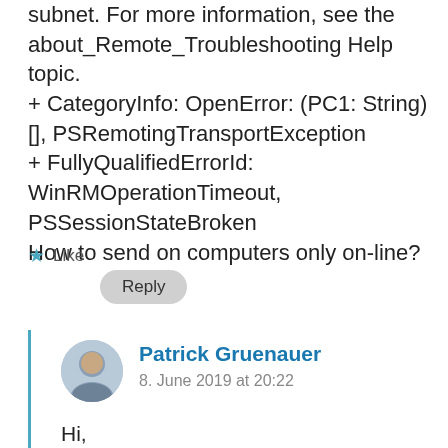subnet. For more information, see the about_Remote_Troubleshooting Help topic.
+ CategoryInfo: OpenError: (PC1: String) [], PSRemotingTransportException
+ FullyQualifiedErrorId: WinRMOperationTimeout, PSSessionStateBroken
How to send on computers only on-line?
★ Like
Reply
Patrick Gruenauer
8. June 2019 at 20:22
Hi,